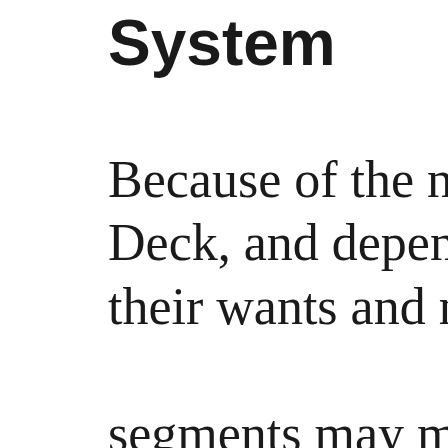System
Because of the natu… Deck, and dependin… their wants and nee… segments may merit… Moreover, you may… hierarchical Custom…